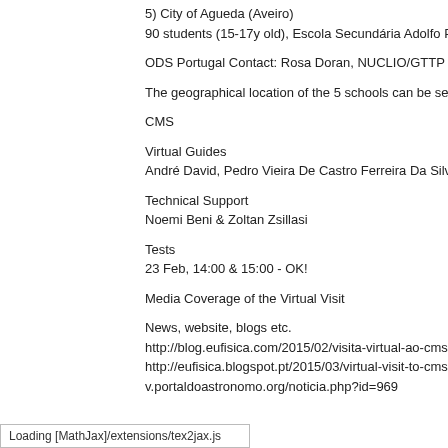5) City of Agueda (Aveiro)
90 students (15-17y old), Escola Secundária Adolfo Po
ODS Portugal Contact: Rosa Doran, NUCLIO/GTTP (ros
The geographical location of the 5 schools can be see
CMS
Virtual Guides
André David, Pedro Vieira De Castro Ferreira Da Silva &
Technical Support
Noemi Beni & Zoltan Zsillasi
Tests
23 Feb, 14:00 & 15:00 - OK!
Media Coverage of the Virtual Visit
News, website, blogs etc.
http://blog.eufisica.com/2015/02/visita-virtual-ao-cms
http://eufisica.blogspot.pt/2015/03/virtual-visit-to-cms
v.portaldoastronomo.org/noticia.php?id=969
Loading [MathJax]/extensions/tex2jax.js